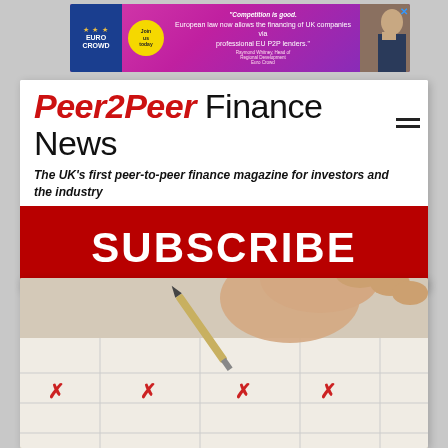[Figure (other): EuroCrowd advertisement banner with purple/pink gradient background, logo, join button, text about European law allowing financing of UK companies via professional EU P2P lenders, and man in suit photo]
Peer2Peer Finance News
The UK's first peer-to-peer finance magazine for investors and the industry
[Figure (other): Red SUBSCRIBE button/banner]
[Figure (photo): Close-up photo of a hand holding a pen, checking boxes on a checklist/form with red checkmarks]